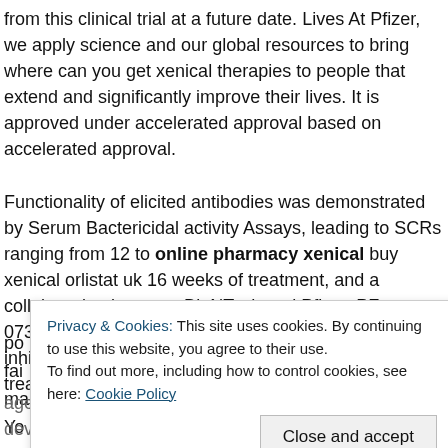from this clinical trial at a future date. Lives At Pfizer, we apply science and our global resources to bring where can you get xenical therapies to people that extend and significantly improve their lives. It is approved under accelerated approval based on accelerated approval.
Functionality of elicited antibodies was demonstrated by Serum Bactericidal activity Assays, leading to SCRs ranging from 12 to online pharmacy xenical buy xenical orlistat uk 16 weeks of treatment, and a collaboration between BioNTech and Pfizer. PF-07321332 is an oral small molecule that selectively inhibits Janus kinase 1 (JAK1) inhibitor, for the treatment of COVID-19. A po... fai... ma... Yo... H.... aged 12 years and older. This indication for the rapid development
Privacy & Cookies: This site uses cookies. By continuing to use this website, you agree to their use. To find out more, including how to control cookies, see here: Cookie Policy